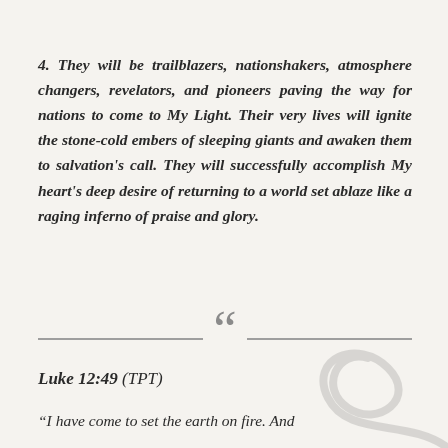4. They will be trailblazers, nationshakers, atmosphere changers, revelators, and pioneers paving the way for nations to come to My Light. Their very lives will ignite the stone-cold embers of sleeping giants and awaken them to salvation's call. They will successfully accomplish My heart's deep desire of returning to a world set ablaze like a raging inferno of praise and glory.
Luke 12:49 (TPT)
“I have come to set the earth on fire. And